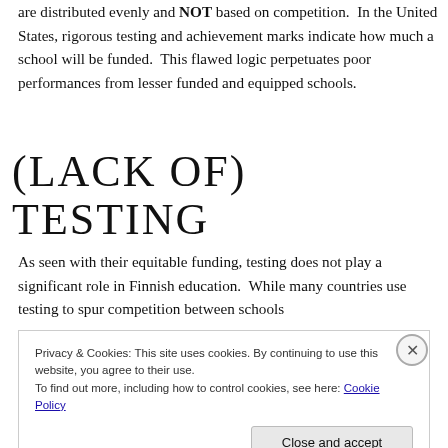are distributed evenly and NOT based on competition.  In the United States, rigorous testing and achievement marks indicate how much a school will be funded.  This flawed logic perpetuates poor performances from lesser funded and equipped schools.
(LACK OF) TESTING
As seen with their equitable funding, testing does not play a significant role in Finnish education.  While many countries use testing to spur competition between schools
Privacy & Cookies: This site uses cookies. By continuing to use this website, you agree to their use.
To find out more, including how to control cookies, see here: Cookie Policy